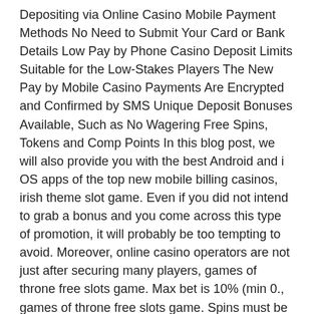Depositing via Online Casino Mobile Payment Methods No Need to Submit Your Card or Bank Details Low Pay by Phone Casino Deposit Limits Suitable for the Low-Stakes Players The New Pay by Mobile Casino Payments Are Encrypted and Confirmed by SMS Unique Deposit Bonuses Available, Such as No Wagering Free Spins, Tokens and Comp Points In this blog post, we will also provide you with the best Android and i OS apps of the top new mobile billing casinos, irish theme slot game. Even if you did not intend to grab a bonus and you come across this type of promotion, it will probably be too tempting to avoid. Moreover, online casino operators are not just after securing many players, games of throne free slots game. Max bet is 10% (min 0., games of throne free slots game. Spins must be used and/or Bonus must be claimed before using deposited funds. PointsBet is also available as Casino Coupons – Get Casino